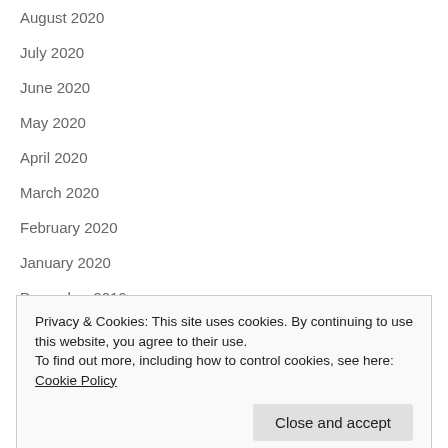August 2020
July 2020
June 2020
May 2020
April 2020
March 2020
February 2020
January 2020
December 2019
Privacy & Cookies: This site uses cookies. By continuing to use this website, you agree to their use.
To find out more, including how to control cookies, see here: Cookie Policy
Close and accept
July 2019